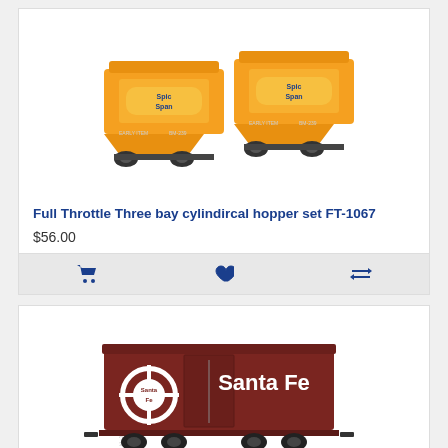[Figure (photo): Two orange cylindrical hopper train cars with Spic and Span branding]
Full Throttle Three bay cylindircal hopper set FT-1067
$56.00
[Figure (photo): Dark red/brown Santa Fe boxcar (ATSF 35414) with circular Santa Fe logo and text]